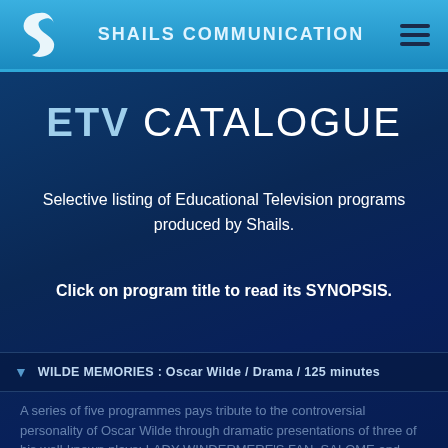SHAILS COMMUNICATION
ETV CATALOGUE
Selective listing of Educational Television programs produced by Shails.
Click on program title to read its SYNOPSIS.
WILDE MEMORIES : Oscar Wilde / Drama / 125 minutes
A series of five programmes pays tribute to the controversial personality of Oscar Wilde through dramatic presentations of three of his well-known plays: LADY WINDERMERE'S FAN, SALOME and THE IMPORTANCE OF BEING EARNEST. These